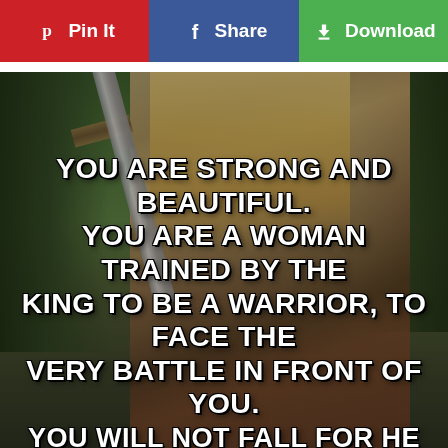Pin It | Share | Download
[Figure (photo): A blonde woman dressed as a Viking warrior, holding a sword upright in front of her face, with trees in the background. Overlaid with inspirational text.]
YOU ARE STRONG AND BEAUTIFUL. YOU ARE A WOMAN TRAINED BY THE KING TO BE A WARRIOR, TO FACE THE VERY BATTLE IN FRONT OF YOU. YOU WILL NOT FALL FOR HE IS WITH YOU.